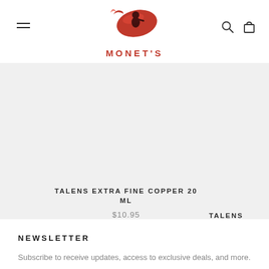[Figure (logo): Monet's logo with red paintbrush/figure silhouette and MONET'S text in red below]
TALENS EXTRA FINE COPPER 20 ML
$10.95
TALENS
NEWSLETTER
Subscribe to receive updates, access to exclusive deals, and more.